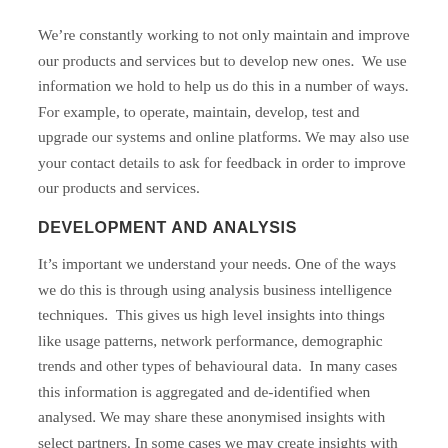We're constantly working to not only maintain and improve our products and services but to develop new ones.  We use information we hold to help us do this in a number of ways. For example, to operate, maintain, develop, test and upgrade our systems and online platforms. We may also use your contact details to ask for feedback in order to improve our products and services.
DEVELOPMENT AND ANALYSIS
It's important we understand your needs. One of the ways we do this is through using analysis business intelligence techniques.  This gives us high level insights into things like usage patterns, network performance, demographic trends and other types of behavioural data.  In many cases this information is aggregated and de-identified when analysed. We may share these anonymised insights with select partners. In some cases we may create insights with your